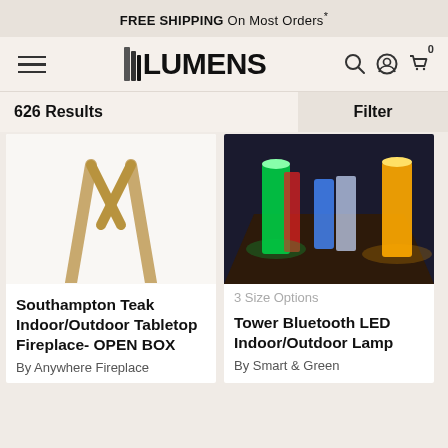FREE SHIPPING On Most Orders*
[Figure (logo): Lumens lighting store logo with hamburger menu and nav icons]
626 Results
Filter
[Figure (photo): Southampton Teak Indoor/Outdoor Tabletop Fireplace - OPEN BOX product image showing wooden teak legs]
[Figure (photo): Tower Bluetooth LED Indoor/Outdoor Lamp product image showing glowing colorful tower lamps in a dark corridor]
3 Size Options
Southampton Teak Indoor/Outdoor Tabletop Fireplace- OPEN BOX
By Anywhere Fireplace
Tower Bluetooth LED Indoor/Outdoor Lamp
By Smart & Green